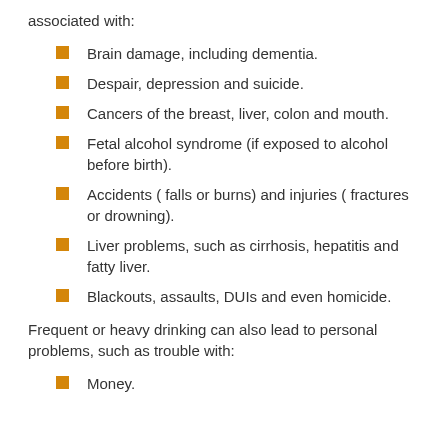associated with:
Brain damage, including dementia.
Despair, depression and suicide.
Cancers of the breast, liver, colon and mouth.
Fetal alcohol syndrome (if exposed to alcohol before birth).
Accidents ( falls or burns) and injuries ( fractures or drowning).
Liver problems, such as cirrhosis, hepatitis and fatty liver.
Blackouts, assaults, DUIs and even homicide.
Frequent or heavy drinking can also lead to personal problems, such as trouble with:
Money.